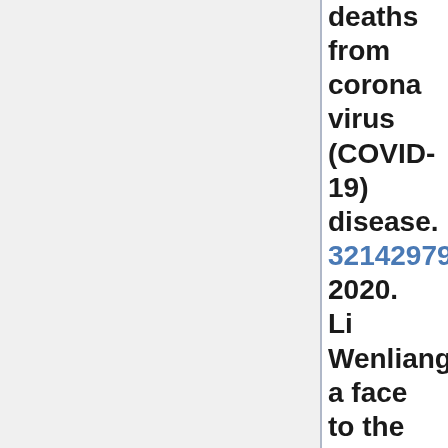deaths from corona virus (COVID-19) disease. 32142979 2020. Li Wenliang a face to the